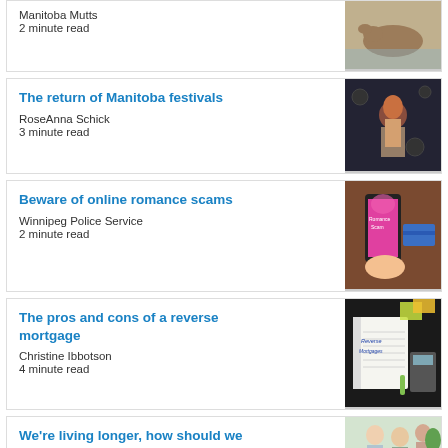Manitoba Mutts
2 minute read
[Figure (photo): Dog lying on a blanket]
The return of Manitoba festivals
RoseAnna Schick
3 minute read
[Figure (photo): Person performing on stage]
Beware of online romance scams
Winnipeg Police Service
2 minute read
[Figure (photo): Hand holding smartphone with Romance Scam on screen, credit card nearby]
The pros and cons of a reverse mortgage
Christine Ibbotson
4 minute read
[Figure (photo): Notebook with Reverse Mortgage written on it, calculator and sticky notes]
We're living longer, how should we invest?
Christine Ibbotson
[Figure (photo): Elderly couple meeting with financial advisor]